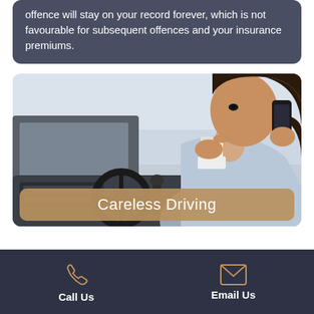offence will stay on your record forever, which is not favourable for subsequent offences and your insurance premiums.
[Figure (photo): Woman sitting in car driver seat, drinking from a coffee cup with one hand while holding a phone to her ear with the other hand, dashboard and steering wheel visible]
Careless Driving
Call Us
Email Us